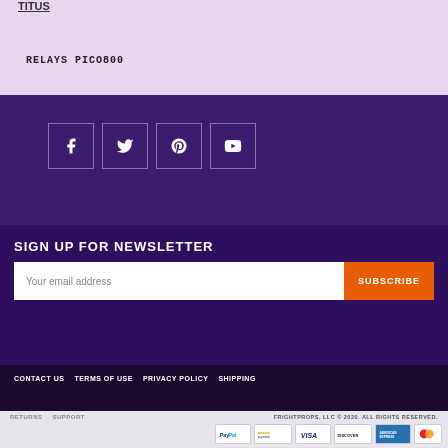TITUS
RELAYS PICO800
[Figure (other): Social media icon buttons for Facebook, Twitter, Pinterest, and YouTube in a dark purple section]
SIGN UP FOR NEWSLETTER
Your email address
SUBSCRIBE
CONTACT US   TERMS OF USE   PRIVACY POLICY   SHIPPING
RETURNS   SUPPORT
FRIGHTPROPS, LLC © 2020. ALL RIGHTS RESERVED.
[Figure (other): Payment method icons: PayPal, Amazon Payments, Visa, Discover, American Express, MasterCard]